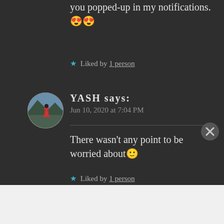you popped-up in my notifications.😍😍
★ Liked by 1 person
[Figure (photo): Circular avatar photo of YASH, showing a person in a red jacket on a mountain landscape]
YASH says: Jun 10, 2020 at 7:04 PM
There wasn't any point to be worried about🙂
★ Liked by 1 person
Advertisements
[Figure (screenshot): WooCommerce advertisement banner: How to start selling subscriptions online]